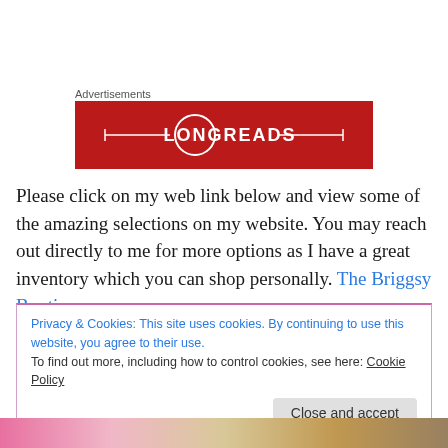Advertisements
[Figure (logo): Longreads red banner advertisement with white circle L logo and LONGREADS text in white on dark red background]
Please click on my web link below and view some of the amazing selections on my website. You may reach out directly to me for more options as I have a great inventory which you can shop personally. The Briggsy Boutique
Privacy & Cookies: This site uses cookies. By continuing to use this website, you agree to their use.
To find out more, including how to control cookies, see here: Cookie Policy
Close and accept